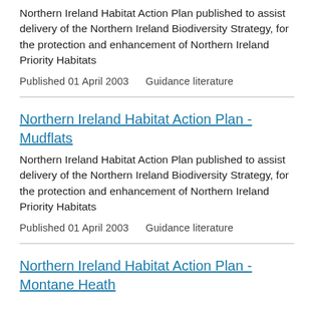Northern Ireland Habitat Action Plan published to assist delivery of the Northern Ireland Biodiversity Strategy, for the protection and enhancement of Northern Ireland Priority Habitats
Published 01 April 2003    Guidance literature
Northern Ireland Habitat Action Plan - Mudflats
Northern Ireland Habitat Action Plan published to assist delivery of the Northern Ireland Biodiversity Strategy, for the protection and enhancement of Northern Ireland Priority Habitats
Published 01 April 2003    Guidance literature
Northern Ireland Habitat Action Plan - Montane Heath